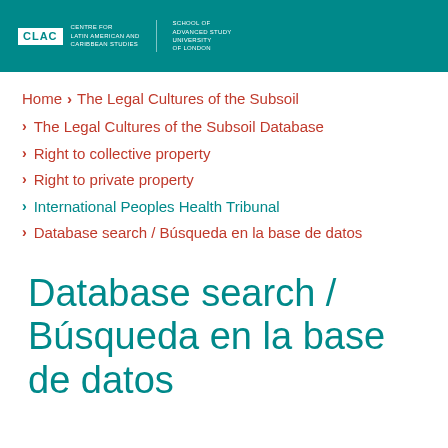CLAC | Centre for Latin American and Caribbean Studies | School of Advanced Study, University of London
Home > The Legal Cultures of the Subsoil
The Legal Cultures of the Subsoil Database
Right to collective property
Right to private property
International Peoples Health Tribunal
Database search / Búsqueda en la base de datos
Database search / Búsqueda en la base de datos